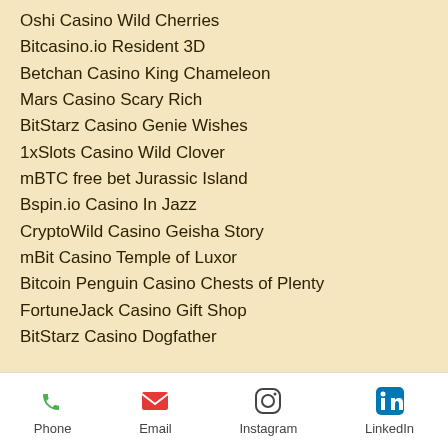Oshi Casino Wild Cherries
Bitcasino.io Resident 3D
Betchan Casino King Chameleon
Mars Casino Scary Rich
BitStarz Casino Genie Wishes
1xSlots Casino Wild Clover
mBTC free bet Jurassic Island
Bspin.io Casino In Jazz
CryptoWild Casino Geisha Story
mBit Casino Temple of Luxor
Bitcoin Penguin Casino Chests of Plenty
FortuneJack Casino Gift Shop
BitStarz Casino Dogfather
https://www.firstladiesteam.com/profile/shaunrecords2047843/profile
https://www.perfectmakeup20.com/profile/janaycleary17427960/profile
https://www.szemsebeszet.eu/profile/eliasfiu...
Phone  Email  Instagram  LinkedIn